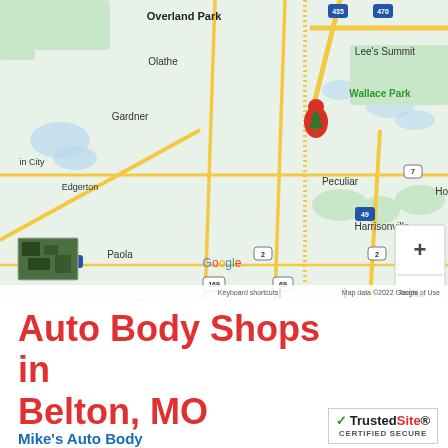[Figure (map): Google Maps screenshot showing the Kansas City south metro area including Olathe, Gardner, Edgerton, Paola, Osawatomie, Peculiar, Harrisonville, Garden City, Lee's Summit, Wallace Park (with a map pin marker), and highway routes including I-435, I-470, I-35, I-49, US-169, US-69, US-7, US-2. Zoom controls (+/-) visible on right. Satellite thumbnail in lower-left. Google logo visible. Attribution: Keyboard shortcuts · Map data ©2022 Google · Terms of Use]
Auto Body Shops in Belton, MO
Mike's Auto Body